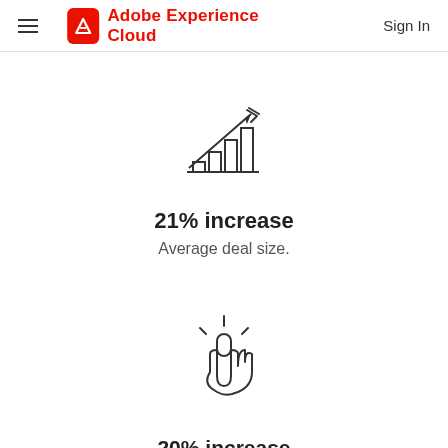Adobe Experience Cloud — Sign In
[Figure (illustration): Bar chart icon with upward trending arrow, representing growth]
21% increase
Average deal size.
[Figure (illustration): Hand pointer/click icon with radiating lines indicating interaction]
20% increase